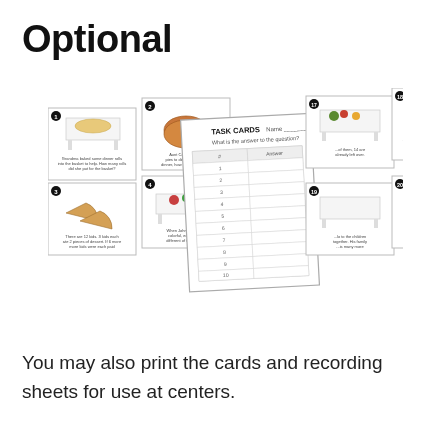Optional
[Figure (illustration): A fan of task cards showing Thanksgiving/food-themed math word problem cards with illustrations of tables with food, pie slices, and produce, along with a TASK CARDS recording sheet in the center.]
You may also print the cards and recording sheets for use at centers.